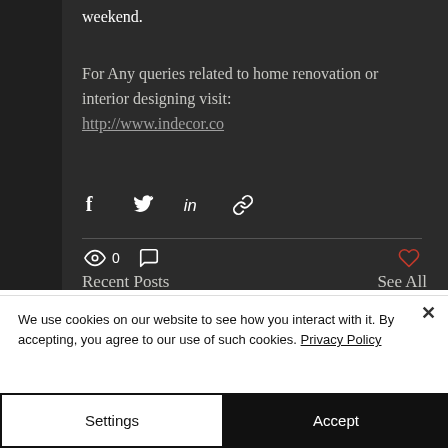weekend.
For Any queries related to home renovation or interior designing visit:
http://www.indecor.co
[Figure (other): Social share icons: Facebook, Twitter, LinkedIn, Link/chain]
[Figure (other): Post meta: eye/views icon with count 0, comment icon, heart/like icon]
Recent Posts
See All
We use cookies on our website to see how you interact with it. By accepting, you agree to our use of such cookies. Privacy Policy
Settings
Accept